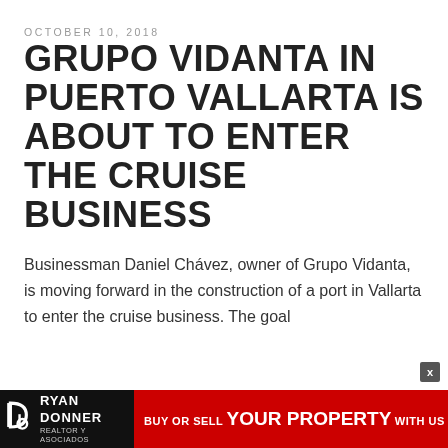OCTOBER 10, 2018
GRUPO VIDANTA IN PUERTO VALLARTA IS ABOUT TO ENTER THE CRUISE BUSINESS
Businessman Daniel Chávez, owner of Grupo Vidanta, is moving forward in the construction of a port in Vallarta to enter the cruise business. The goal
[Figure (logo): Ryan Donner Realtor y Asociados logo with banner: BUY OR SELL YOUR PROPERTY WITH US]